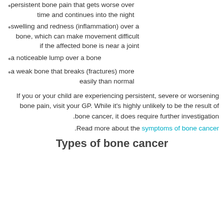persistent bone pain that gets worse over time and continues into the night
swelling and redness (inflammation) over a bone, which can make movement difficult if the affected bone is near a joint
a noticeable lump over a bone
a weak bone that breaks (fractures) more easily than normal
If you or your child are experiencing persistent, severe or worsening bone pain, visit your GP. While it's highly unlikely to be the result of bone cancer, it does require further investigation.
Read more about the symptoms of bone cancer.
Types of bone cancer